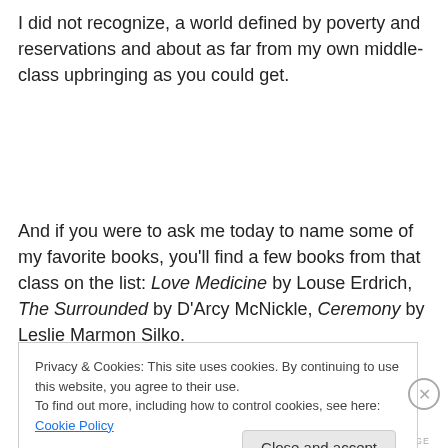I did not recognize, a world defined by poverty and reservations and about as far from my own middle-class upbringing as you could get.
And if you were to ask me today to name some of my favorite books, you'll find a few books from that class on the list: Love Medicine by Louse Erdrich, The Surrounded by D'Arcy McNickle, Ceremony by Leslie Marmon Silko.
Privacy & Cookies: This site uses cookies. By continuing to use this website, you agree to their use.
To find out more, including how to control cookies, see here: Cookie Policy
Close and accept